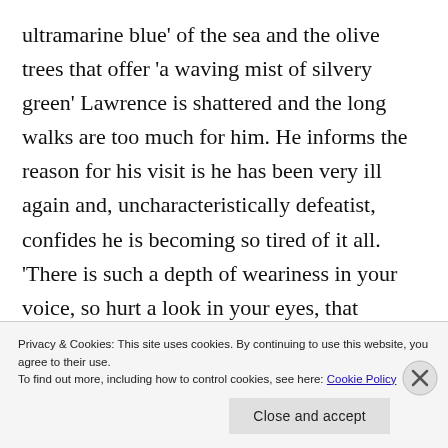ultramarine blue' of the sea and the olive trees that offer 'a waving mist of silvery green' Lawrence is shattered and the long walks are too much for him. He informs the reason for his visit is he has been very ill again and, uncharacteristically defeatist, confides he is becoming so tired of it all. 'There is such a depth of weariness in your voice, so hurt a look in your eyes, that nothing I can say seems adequate. I look at the bright sea, the
Privacy & Cookies: This site uses cookies. By continuing to use this website, you agree to their use.
To find out more, including how to control cookies, see here: Cookie Policy
Close and accept